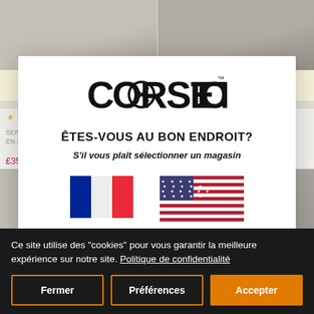[Figure (screenshot): Background e-commerce page showing corset products with Mix & Match Multibuy Buy 4 For 1 labels, star ratings, product names and prices]
[Figure (logo): Corset Story logo with stylized text and TM mark]
ÊTES-VOUS AU BON ENDROIT?
S'il vous plaît sélectionner un magasin
[Figure (illustration): French flag and American flag side by side for store selection]
Ce site utilise des "cookies" pour vous garantir la meilleure expérience sur notre site. Politique de confidentialité
Fermer
Préférences
Accepter